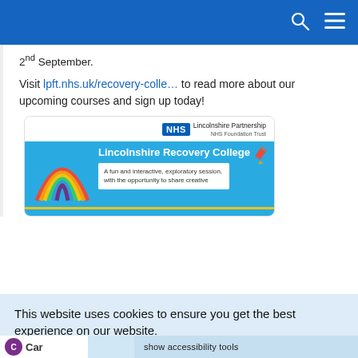NHS navigation bar with search and menu icons
2nd September.
Visit lpft.nhs.uk/recovery-colle… to read more about our upcoming courses and sign up today!
[Figure (screenshot): NHS Lincolnshire Partnership NHS Foundation Trust - Lincolnshire Recovery College banner image with rainbow graphic and text: A fun and interactive, exploratory session, with the opportunity to share creative]
This website uses cookies to ensure you get the best experience on our website.
Learn more
Got it!
Show accessibility tools